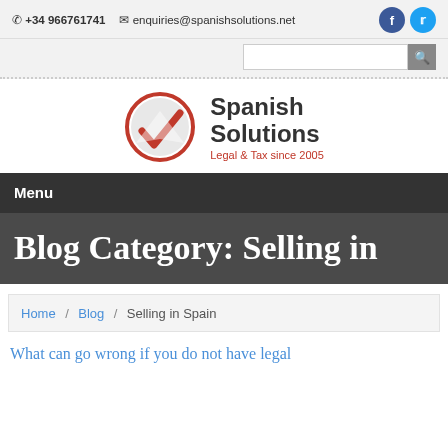☎ +34 966761741  ✉ enquiries@spanishsolutions.net
[Figure (logo): Spanish Solutions logo with red checkmark in circle and text 'Spanish Solutions Legal & Tax since 2005']
Menu
Blog Category: Selling in
Home / Blog / Selling in Spain
What can go wrong if you do not have legal